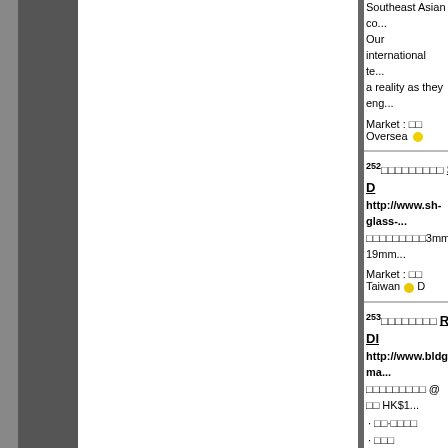Southeast Asian co... Our international te... a reality as they eng...
Market : 　　Oversea
252 □□□□□□□□□  Shang D... http://www.sh-glass... □□□□□□□□□3mm-19mm...
Market : 　　Taiwan
253 □□□□□□□□  Rosa DI... http://www.bldg-ma... □□□□□□□□□ @ 　　HK$1... ·□□·□□□□ ·□□□ ·□□□□ ·□□PDF□□□□2mb)
★(.com.hk / .com/ ...
★ Rosa DIY Web... · Main · Company P...
★(.com.hk / .com/ ...
Market : 　　Hong Kong...